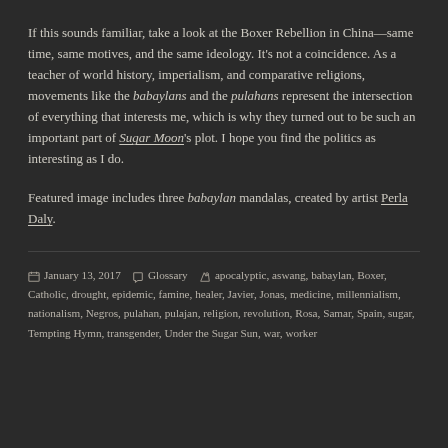If this sounds familiar, take a look at the Boxer Rebellion in China—same time, same motives, and the same ideology. It's not a coincidence. As a teacher of world history, imperialism, and comparative religions, movements like the babaylans and the pulahans represent the intersection of everything that interests me, which is why they turned out to be such an important part of Sugar Moon's plot. I hope you find the politics as interesting as I do.
Featured image includes three babaylan mandalas, created by artist Perla Daly.
January 13, 2017  Glossary  apocalyptic, aswang, babaylan, Boxer, Catholic, drought, epidemic, famine, healer, Javier, Jonas, medicine, millennialism, nationalism, Negros, pulahan, pulajan, religion, revolution, Rosa, Samar, Spain, sugar, Tempting Hymn, transgender, Under the Sugar Sun, war, worker